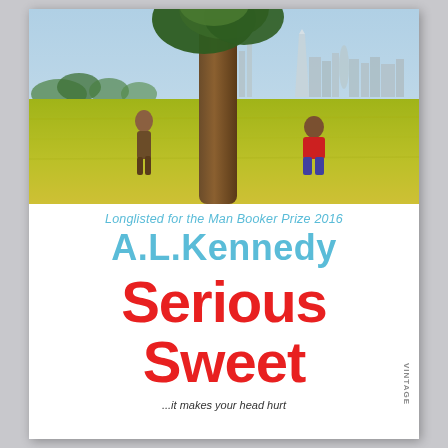[Figure (photo): Book cover photo: Two figures sitting/standing on a grassy hill with a large tree in the center. London skyline (including The Shard) visible in the background under a light blue sky.]
Longlisted for the Man Booker Prize 2016
A.L.Kennedy
Serious Sweet
...it makes your head hurt